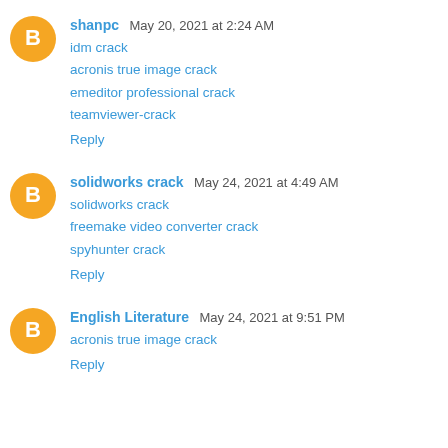shanpc May 20, 2021 at 2:24 AM
idm crack
acronis true image crack
emeditor professional crack
teamviewer-crack
Reply
solidworks crack May 24, 2021 at 4:49 AM
solidworks crack
freemake video converter crack
spyhunter crack
Reply
English Literature May 24, 2021 at 9:51 PM
acronis true image crack
Reply